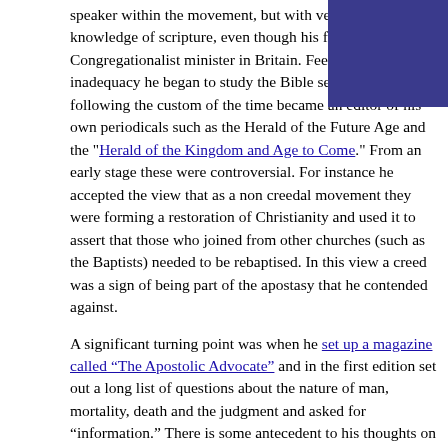speaker within the movement, but with very little personal knowledge of scripture, even though his father was a Congregationalist minister in Britain. Feeling his inadequacy he began to study the Bible seriously and following the custom of the time became an editor of his own periodicals such as the Herald of the Future Age and the "Herald of the Kingdom and Age to Come." From an early stage these were controversial. For instance he accepted the view that as a non creedal movement they were forming a restoration of Christianity and used it to assert that those who joined from other churches (such as the Baptists) needed to be rebaptised. In this view a creed was a sign of being part of the apostasy that he contended against.
A significant turning point was when he set up a magazine called "The Apostolic Advocate" and in the first edition set out a long list of questions about the nature of man, mortality, death and the judgment and asked for “information.” There is some antecedent to his thoughts on this matter in that when he was a doctor he wrote several articles for the Lancet magazine, including one as a non believer on the question of whether man had as part of his makeup an immortal soul. It was on these issues in particular that the Christadelphians later emerged as a group with an interpretation of the entire scriptures based upon materialism.